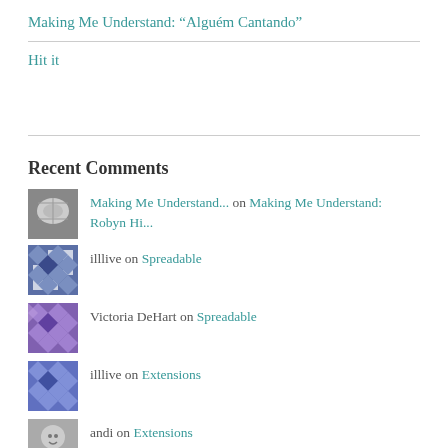Making Me Understand: “Alguém Cantando”
Hit it
Recent Comments
Making Me Understand... on Making Me Understand: Robyn Hi...
illlive on Spreadable
Victoria DeHart on Spreadable
illlive on Extensions
andi on Extensions